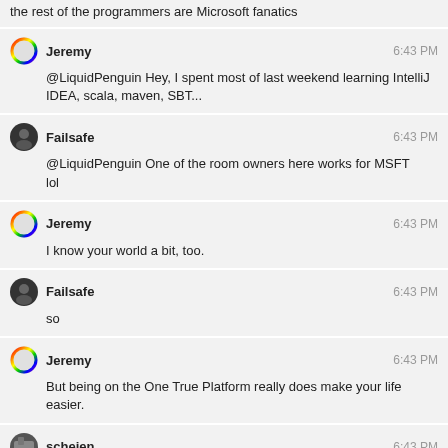the rest of the programmers are Microsoft fanatics
Jeremy 6:43 PM
@LiquidPenguin Hey, I spent most of last weekend learning IntelliJ IDEA, scala, maven, SBT...
Failsafe 6:43 PM
@LiquidPenguin One of the room owners here works for MSFT
lol
Jeremy 6:43 PM
I know your world a bit, too.
Failsafe 6:43 PM
so
Jeremy 6:43 PM
But being on the One True Platform really does make your life easier.
scheien 6:43 PM
@Jeremy hehehe. Ill check it out.
Failsafe 6:43 PM
The one true platform
Liquid Penguin 6:43 PM
if you have the cash for it
micha120 6:43 PM